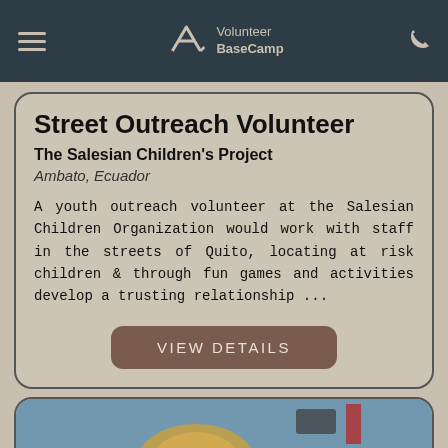Volunteer BaseCamp
Street Outreach Volunteer
The Salesian Children's Project
Ambato, Ecuador
A youth outreach volunteer at the Salesian Children Organization would work with staff in the streets of Quito, locating at risk children & through fun games and activities develop a trusting relationship ...
VIEW DETAILS
[Figure (photo): Bottom portion of page showing a partial photo of a person with blonde hair against a blue background]